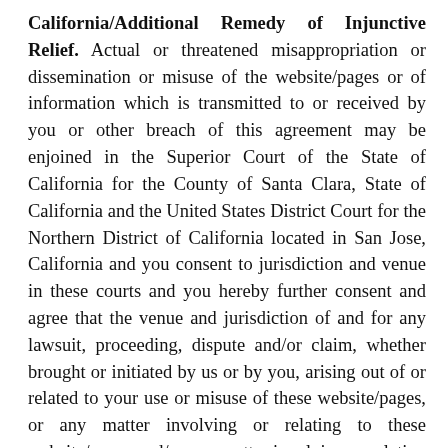California/Additional Remedy of Injunctive Relief. Actual or threatened misappropriation or dissemination or misuse of the website/pages or of information which is transmitted to or received by you or other breach of this agreement may be enjoined in the Superior Court of the State of California for the County of Santa Clara, State of California and the United States District Court for the Northern District of California located in San Jose, California and you consent to jurisdiction and venue in these courts and you hereby further consent and agree that the venue and jurisdiction of and for any lawsuit, proceeding, dispute and/or claim, whether brought or initiated by us or by you, arising out of or related to your use or misuse of these website/pages, or any matter involving or relating to these website/pages and/or any matter involving or relating to these General Terms and Conditions or any other matter posted on the website/pages or on the website...